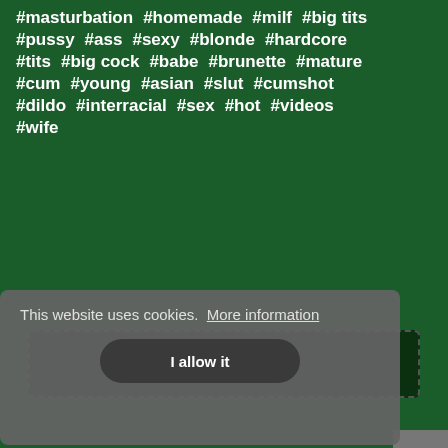#masturbation #homemade #milf #big tits
#pussy #ass #sexy #blonde #hardcore
#tits #big cock #babe #brunette #mature
#cum #young #asian #slut #cumshot
#dildo #interracial #sex #hot #videos
#wife
Subscribe
This website uses cookies.  More information
I allow it